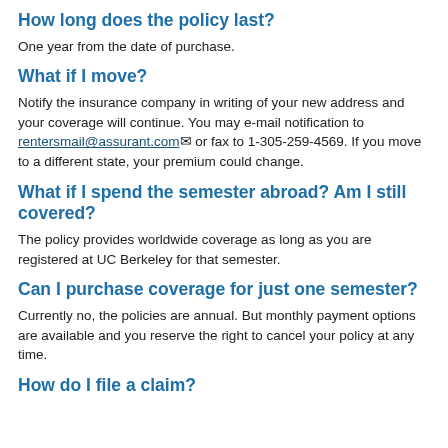How long does the policy last?
One year from the date of purchase.
What if I move?
Notify the insurance company in writing of your new address and your coverage will continue. You may e-mail notification to rentersmail@assurant.com or fax to 1-305-259-4569. If you move to a different state, your premium could change.
What if I spend the semester abroad? Am I still covered?
The policy provides worldwide coverage as long as you are registered at UC Berkeley for that semester.
Can I purchase coverage for just one semester?
Currently no, the policies are annual. But monthly payment options are available and you reserve the right to cancel your policy at any time.
How do I file a claim?